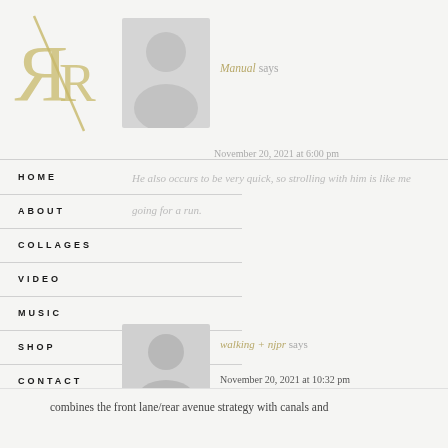[Figure (logo): R/R logo with gold styling top left]
Manual says
November 20, 2021 at 6:00 pm
HOME
ABOUT
He also occurs to be very quick, so strolling with him is like me going for a run.
COLLAGES
VIDEO
MUSIC
SHOP
walking + njpr says
CONTACT
November 20, 2021 at 10:32 pm
The canal district in Venice, California, on the other hand, combines the front lane/rear avenue strategy with canals and